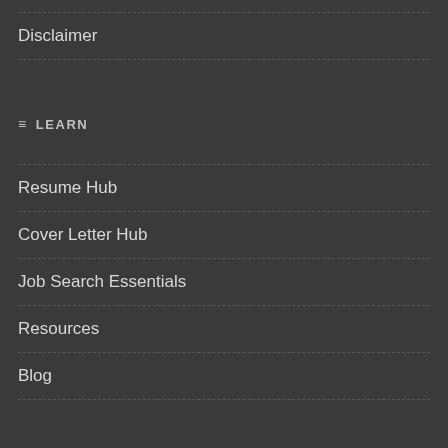Disclaimer
≡ LEARN
Resume Hub
Cover Letter Hub
Job Search Essentials
Resources
Blog
≡ RESOURCES